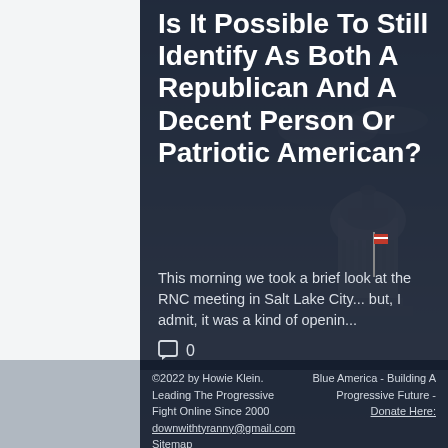Is It Possible To Still Identify As Both A Republican And A Decent Person Or Patriotic American?
This morning we took a brief look at the RNC meeting in Salt Lake City... but, I admit, it was a kind of openin...
0
©2022 by Howie Klein. Leading The Progressive Fight Online Since 2000 downwithtyranny@gmail.com Sitemap
Blue America - Building A Progressive Future - Donate Here: